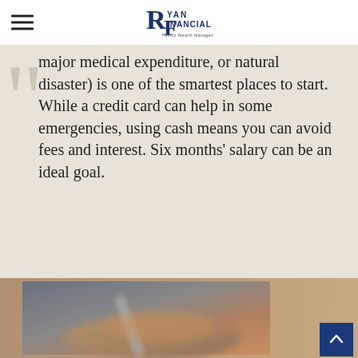Ryan Financial - Family Wealth Management
major medical expenditure, or natural disaster) is one of the smartest places to start. While a credit card can help in some emergencies, using cash means you can avoid fees and interest. Six months' salary can be an ideal goal.
[Figure (photo): A blurred close-up photo of a hand holding a pen, writing on paper, with warm brown tones. A blue back-to-top button is overlaid in the bottom right corner.]